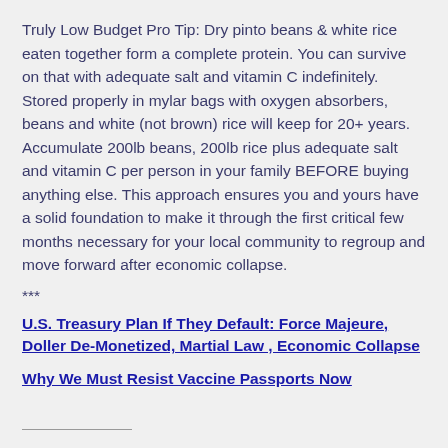Truly Low Budget Pro Tip: Dry pinto beans & white rice eaten together form a complete protein. You can survive on that with adequate salt and vitamin C indefinitely. Stored properly in mylar bags with oxygen absorbers, beans and white (not brown) rice will keep for 20+ years. Accumulate 200lb beans, 200lb rice plus adequate salt and vitamin C per person in your family BEFORE buying anything else. This approach ensures you and yours have a solid foundation to make it through the first critical few months necessary for your local community to regroup and move forward after economic collapse.
***
U.S. Treasury Plan If They Default: Force Majeure, Doller De-Monetized, Martial Law , Economic Collapse
Why We Must Resist Vaccine Passports Now